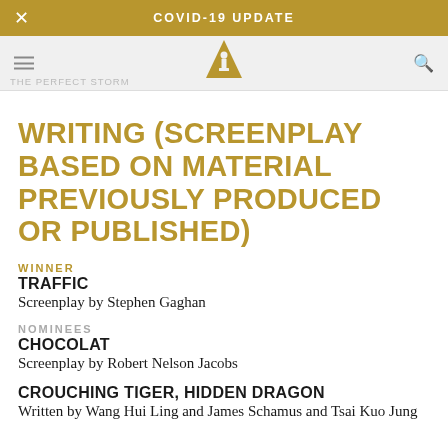COVID-19 UPDATE
[Figure (logo): Academy Awards logo — gold triangle/Oscar statuette silhouette]
WRITING (SCREENPLAY BASED ON MATERIAL PREVIOUSLY PRODUCED OR PUBLISHED)
WINNER
TRAFFIC
Screenplay by Stephen Gaghan
NOMINEES
CHOCOLAT
Screenplay by Robert Nelson Jacobs
CROUCHING TIGER, HIDDEN DRAGON
Written by Wang Hui Ling and James Schamus and Tsai Kuo Jung